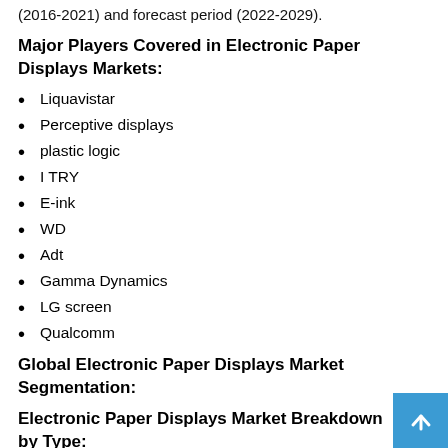(2016-2021) and forecast period (2022-2029).
Major Players Covered in Electronic Paper Displays Markets:
Liquavistar
Perceptive displays
plastic logic
I TRY
E-ink
WD
Adt
Gamma Dynamics
LG screen
Qualcomm
Global Electronic Paper Displays Market Segmentation:
Electronic Paper Displays Market Breakdown by Type: